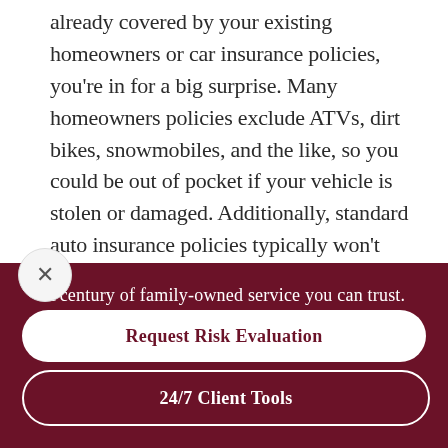already covered by your existing homeowners or car insurance policies, you're in for a big surprise. Many homeowners policies exclude ATVs, dirt bikes, snowmobiles, and the like, so you could be out of pocket if your vehicle is stolen or damaged. Additionally, standard auto insurance policies typically won't cover such vehicles, given the unique risks of driving off-road.
A century of family-owned service you can trust.
Request Risk Evaluation
24/7 Client Tools